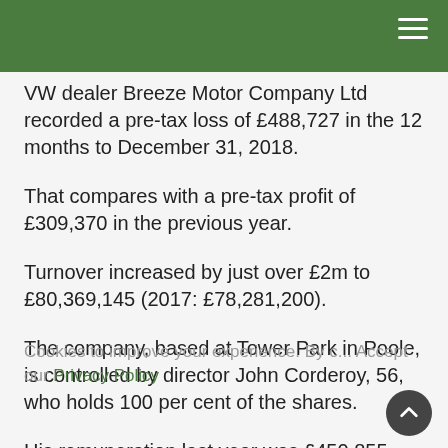VW dealer Breeze Motor Company Ltd recorded a pre-tax loss of £488,727 in the 12 months to December 31, 2018.
That compares with a pre-tax profit of £309,370 in the previous year.
Turnover increased by just over £2m to £80,369,145 (2017: £78,281,200).
The company, based at Tower Park in Poole, is controlled by director John Corderoy, 56, who holds 100 per cent of the shares.
His remuneration last year was £450,855 (2017: £561,930).